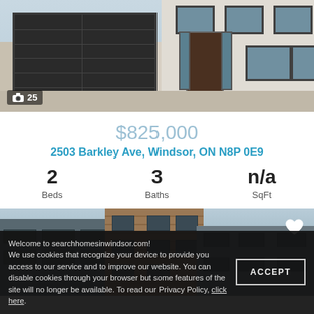[Figure (photo): Exterior photo of a new house with dark double garage door, stone/brick facade, and black-framed windows. Photo count badge shows camera icon and '25'.]
$825,000
2503 Barkley Ave, Windsor, ON N8P 0E9
2 Beds   3 Baths   n/a SqFt
[Figure (photo): Exterior photo of a modern multi-story apartment or condo building with mixed wood and dark metal cladding, balconies, and a heart/favourite icon in the top-right corner.]
Welcome to searchhomesinwindsor.com!
We use cookies that recognize your device to provide you access to our service and to improve our website. You can disable cookies through your browser but some features of the site will no longer be available. To read our Privacy Policy, click here.